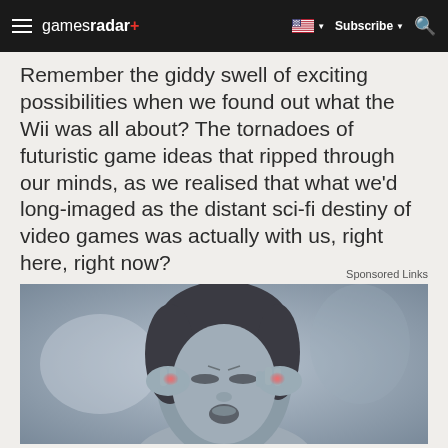gamesradar+ | Subscribe | Search
Remember the giddy swell of exciting possibilities when we found out what the Wii was all about? The tornadoes of futuristic game ideas that ripped through our minds, as we realised that what we’d long-imaged as the distant sci-fi destiny of video games was actually with us, right here, right now?
Sponsored Links
[Figure (photo): Woman holding her head in pain with red highlights at her temples, monochrome photo with pink/red color accent on pain areas]